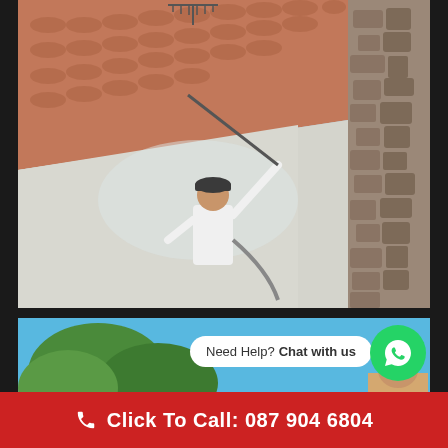[Figure (photo): A person in a white t-shirt and dark cap using a pressure washer or spray tool on an exterior wall of a building. The wall appears freshly rendered/plastered in light grey. A terracotta tile roof and a stone wall are visible in the background. A TV antenna is visible at the top. The scene appears to be outdoors on a sunny day.]
[Figure (photo): Partial view of a second outdoor scene showing green trees against a bright blue sky, with a person in a cap visible at the bottom right edge.]
Need Help? Chat with us
Click To Call: 087 904 6804